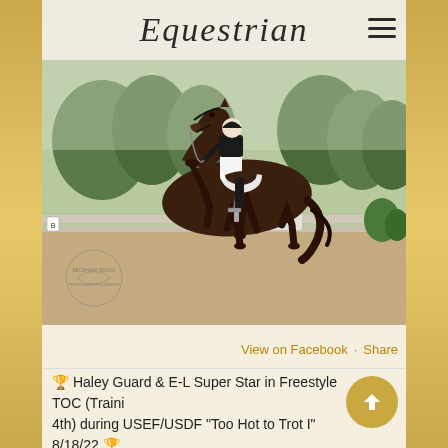Equestrian
[Figure (photo): A dark bay horse performing dressage with a rider in white breeches and black jacket at a competition, with a watermark logo in the lower left corner.]
View on Facebook  ·  Share
🏆 Haley Guard & E-L Super Star in Freestyle TOC (Training 4th) during USEF/USDF "Too Hot to Trot I" 8/18/22 🏆